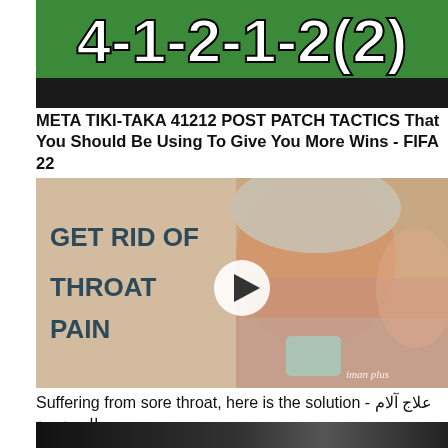[Figure (screenshot): Thumbnail image showing '4-1-2-1-2(2)' formation text in white on green background with black bar at bottom]
META TIKI-TAKA 41212 POST PATCH TACTICS That You Should Be Using To Give You More Wins - FIFA 22
[Figure (screenshot): Video thumbnail showing woman in beanie hat holding a mug with text 'GET RID OF THROAT PAIN' on left side and a play button in center. Watermark reads 'iman plus']
Suffering from sore throat, here is the solution - علاج آلام ال حنجرة
[Figure (screenshot): Partial thumbnail strip at bottom of page, dark/black]